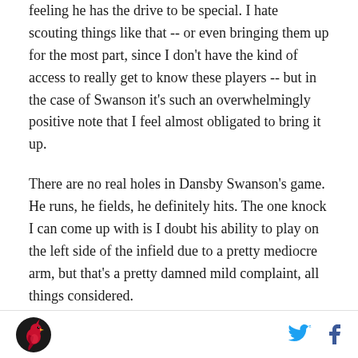feeling he has the drive to be special. I hate scouting things like that -- or even bringing them up for the most part, since I don't have the kind of access to really get to know these players -- but in the case of Swanson it's such an overwhelmingly positive note that I feel almost obligated to bring it up.
There are no real holes in Dansby Swanson's game. He runs, he fields, he definitely hits. The one knock I can come up with is I doubt his ability to play on the left side of the infield due to a pretty mediocre arm, but that's a pretty damned mild complaint, all things considered.
It's inevitable, I suppose, that Swanson gets compared